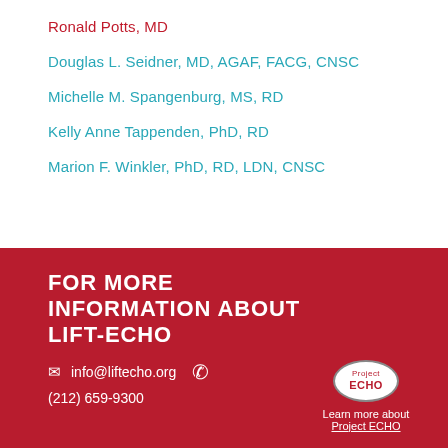Ronald Potts, MD
Douglas L. Seidner, MD, AGAF, FACG, CNSC
Michelle M. Spangenburg, MS, RD
Kelly Anne Tappenden, PhD, RD
Marion F. Winkler, PhD, RD, LDN, CNSC
FOR MORE INFORMATION ABOUT LIFT-ECHO
info@liftecho.org  (212) 659-9300
[Figure (logo): Project ECHO oval logo with text 'Project ECHO' in red on white background]
Learn more about Project ECHO
© 2019 LIFT-ECHO. All rights reserved.